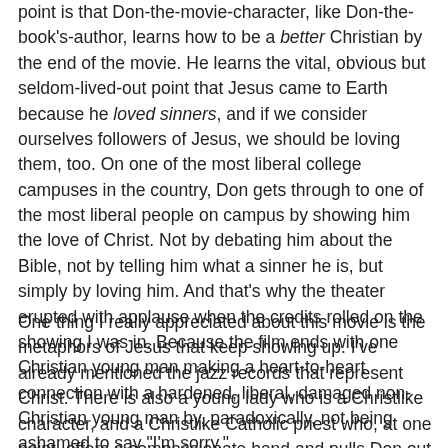point is that Don-the-movie-character, like Don-the-book's-author, learns how to be a better Christian by the end of the movie. He learns the vital, obvious but seldom-lived-out point that Jesus came to Earth because he loved sinners, and if we consider ourselves followers of Jesus, we should be loving them, too. On one of the most liberal college campuses in the country, Don gets through to one of the most liberal people on campus by showing him the love of Christ. Not by debating him about the Bible, not by telling him what a sinner he is, but simply by loving him. And that's why the theater erupted with applause when the credits rolled on the showing I was in. Because the film ends with one Christian young man making a heart-to-heart connection with a hardened, liberal, damaged non-Christian young man by, paradoxically, not being ashamed to say "I'm sorry."
One thing I really appreciated about this movie is the metaphors of Jesus that keep showing up. I've already mentioned the jazz records that represent Christ. There is also a young lady who is a Christlike character, and a Christlike Catholic priest who, at one point, offers a compassionate hand and pulls Don out of an overturned